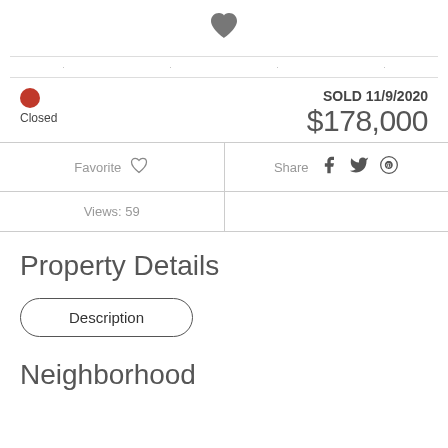[Figure (illustration): Filled heart icon at the top center of the page]
SOLD 11/9/2020
$178,000
Closed
Favorite
Share
Views: 59
Property Details
Description
Neighborhood